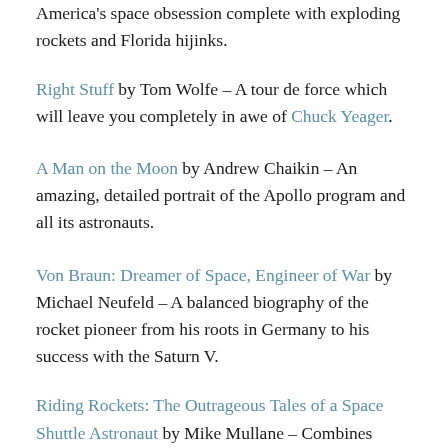America's space obsession complete with exploding rockets and Florida hijinks.
Right Stuff by Tom Wolfe – A tour de force which will leave you completely in awe of Chuck Yeager.
A Man on the Moon by Andrew Chaikin – An amazing, detailed portrait of the Apollo program and all its astronauts.
Von Braun: Dreamer of Space, Engineer of War by Michael Neufeld – A balanced biography of the rocket pioneer from his roots in Germany to his success with the Saturn V.
Riding Rockets: The Outrageous Tales of a Space Shuttle Astronaut by Mike Mullane – Combines fraternity-boy